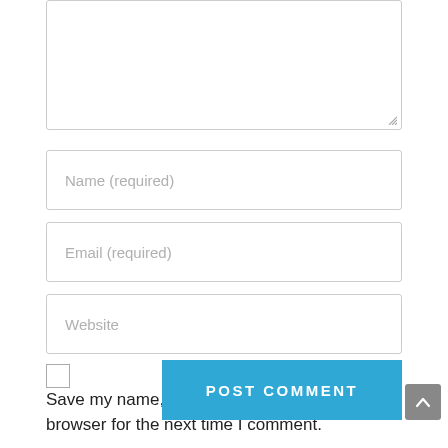[textarea box — comment input]
Name (required)
Email (required)
Website
Save my name, email, and website in this browser for the next time I comment.
POST COMMENT